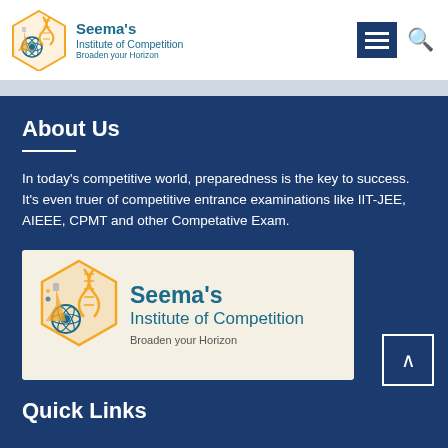[Figure (logo): Seema's Institute of Competition logo with science/chemistry themed hexagonal icon]
Seema's Institute of Competition – Broaden your Horizon
[Figure (infographic): Hamburger menu icon (three white lines on dark blue background) and search icon]
About Us
In today's competitive world, preparedness is the key to success. It's even truer of competitive entrance examinations like IIT-JEE, AIEEE, CPMT and other Competative Exam.
[Figure (logo): Seema's Institute of Competition banner with logo icon on light background. Text: Seema's Institute of Competition, Broaden your Horizon]
Quick Links